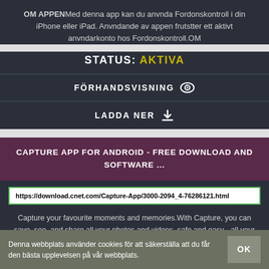OM APPENMed denna app kan du anvnda Fordonskontroll i din iPhone eller iPad. Anvndande av appen frutstter ett aktivt anvndarkonto hos Fordonskontroll.OM
STATUS: AKTIVA
FÖRHANDSVISNING
LADDA NER
CAPTURE APP FOR ANDROID - FREE DOWNLOAD AND SOFTWARE ...
https://download.cnet.com/Capture-App/3000-2094_4-76286121.html
Capture your favourite moments and memories.With Capture, you can save, see, and share all your photos and videos, safe and easy - all your memories in on ... Capture App for Android. Free Telenor ...
Denna webbplats använder cookies för att säkerställa att du får den bästa upplevelsen på vår webbplats.